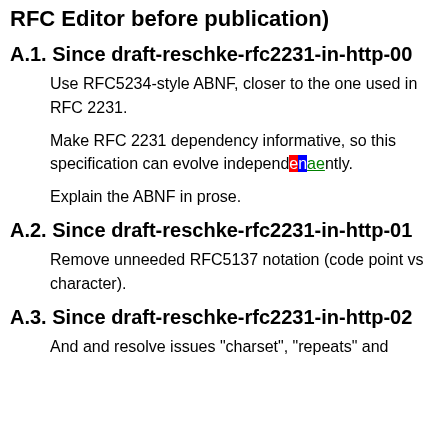RFC Editor before publication)
A.1. Since draft-reschke-rfc2231-in-http-00
Use RFC5234-style ABNF, closer to the one used in RFC 2231.
Make RFC 2231 dependency informative, so this specification can evolve independently.
Explain the ABNF in prose.
A.2. Since draft-reschke-rfc2231-in-http-01
Remove unneeded RFC5137 notation (code point vs character).
A.3. Since draft-reschke-rfc2231-in-http-02
And and resolve issues "charset", "repeats" and